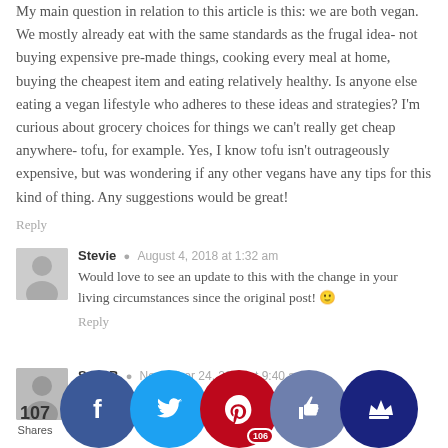My main question in relation to this article is this: we are both vegan. We mostly already eat with the same standards as the frugal idea- not buying expensive pre-made things, cooking every meal at home, buying the cheapest item and eating relatively healthy. Is anyone else eating a vegan lifestyle who adheres to these ideas and strategies? I'm curious about grocery choices for things we can't really get cheap anywhere- tofu, for example. Yes, I know tofu isn't outrageously expensive, but was wondering if any other vegans have any tips for this kind of thing. Any suggestions would be great!
Reply
Stevie  August 4, 2018 at 1:32 am
Would love to see an update to this with the change in your living circumstances since the original post! 🙂
Reply
Sam B  November 24, 2018 at 9:40 am
I came to comment about Per... and thought I'd add to... disclaimer... ly hea... t the p... o days...
107 Shares